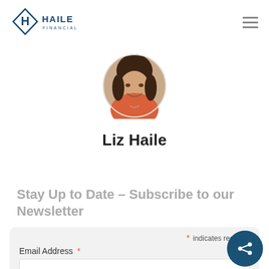[Figure (logo): Haile Financial logo with diamond H icon and company name]
[Figure (photo): Circular profile photo of Liz Haile, a woman with dark hair wearing an orange top]
Liz Haile
Stay Up to Date – Subscribe to our Newsletter
* indicates required
Email Address *
First Name